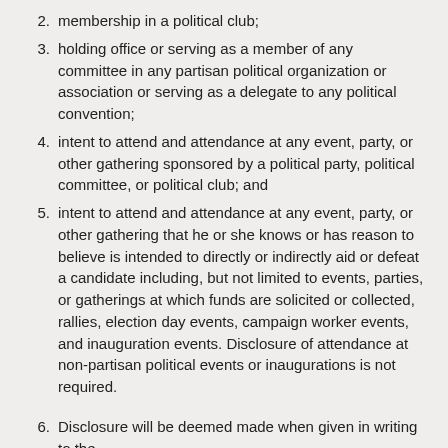2. membership in a political club;
3. holding office or serving as a member of any committee in any partisan political organization or association or serving as a delegate to any political convention;
4. intent to attend and attendance at any event, party, or other gathering sponsored by a political party, political committee, or political club; and
5. intent to attend and attendance at any event, party, or other gathering that he or she knows or has reason to believe is intended to directly or indirectly aid or defeat a candidate including, but not limited to events, parties, or gatherings at which funds are solicited or collected, rallies, election day events, campaign worker events, and inauguration events. Disclosure of attendance at non-partisan political events or inaugurations is not required.
6. Disclosure will be deemed made when given in writing to the